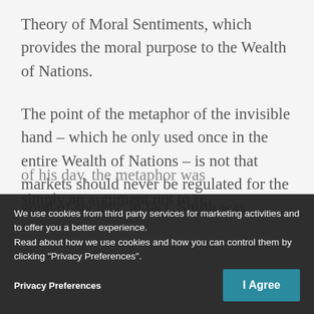Theory of Moral Sentiments, which provides the moral purpose to the Wealth of Nations.
The point of the metaphor of the invisible hand – which he only used once in the entire Wealth of Nations – is not that markets should never be regulated for the good of society; in fact, Smith was
of his day, the metaphor was simply an argument not to re
We use cookies from third party services for marketing activities and to offer you a better experience. Read about how we use cookies and how you can control them by clicking "Privacy Preferences".
Privacy Preferences
I Agree